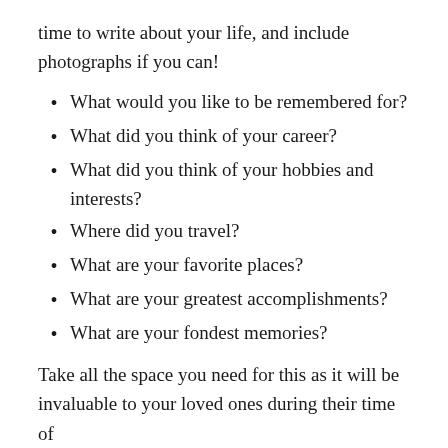time to write about your life, and include photographs if you can!
What would you like to be remembered for?
What did you think of your career?
What did you think of your hobbies and interests?
Where did you travel?
What are your favorite places?
What are your greatest accomplishments?
What are your fondest memories?
Take all the space you need for this as it will be invaluable to your loved ones during their time of